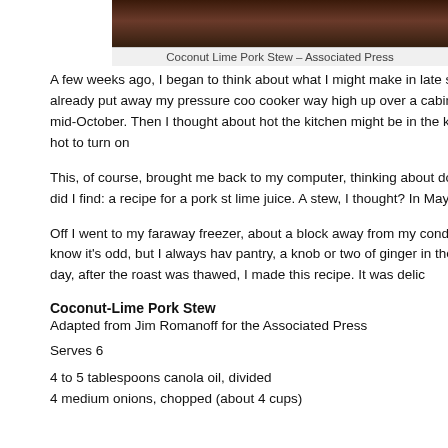[Figure (photo): Partial view of Coconut Lime Pork Stew dish, dark background]
Coconut Lime Pork Stew – Associated Press
A few weeks ago, I began to think about what I might make in late spring and summer with my CSA (community-supported agriculture). I had already put away my pressure cooker way high up over a cabinet, thinking I might not be using it until late fall, when CSA begins, maybe mid-October. Then I thought about hot the kitchen might be in the summer keep it in a cabinet, since I could make desserts in it, when it is too hot to turn on
This, of course, brought me back to my computer, thinking about doing pudding o love coconut and anything lemony or limey. What did I find: a recipe for a pork ste lime juice. A stew, I thought? In May? Truth is, it is cool enough, especially at nigh basil plants in yet.
Off I went to my faraway freezer, about a block away from my condo. Know what maybe bought in the winter when it was on sale. I know it's odd, but I always hav pantry, a knob or two of ginger in the refrigerator's freezer, and limes (and lemon counter. The next day, after the roast was thawed, I made this recipe. It was delic
Coconut-Lime Pork Stew
Adapted from Jim Romanoff for the Associated Press
Serves 6
4 to 5 tablespoons canola oil, divided
4 medium onions, chopped (about 4 cups)